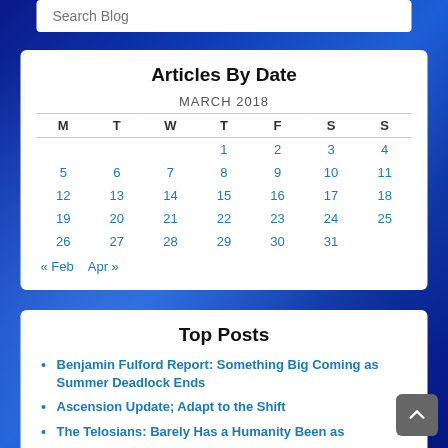Search Blog
Articles By Date
| M | T | W | T | F | S | S |
| --- | --- | --- | --- | --- | --- | --- |
|  |  |  | 1 | 2 | 3 | 4 |
| 5 | 6 | 7 | 8 | 9 | 10 | 11 |
| 12 | 13 | 14 | 15 | 16 | 17 | 18 |
| 19 | 20 | 21 | 22 | 23 | 24 | 25 |
| 26 | 27 | 28 | 29 | 30 | 31 |  |
« Feb   Apr »
Top Posts
Benjamin Fulford Report: Something Big Coming as Summer Deadlock Ends
Ascension Update; Adapt to the Shift
The Telosians: Barely Has a Humanity Been as